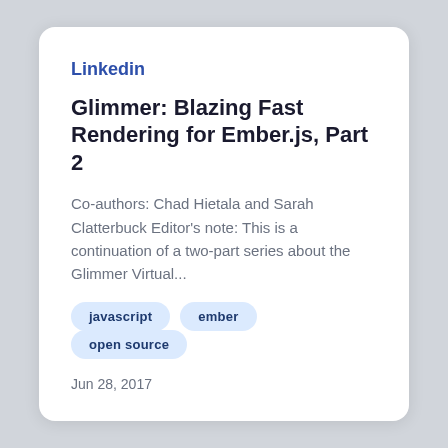Linkedin
Glimmer: Blazing Fast Rendering for Ember.js, Part 2
Co-authors: Chad Hietala and Sarah Clatterbuck Editor's note: This is a continuation of a two-part series about the Glimmer Virtual...
javascript
ember
open source
Jun 28, 2017